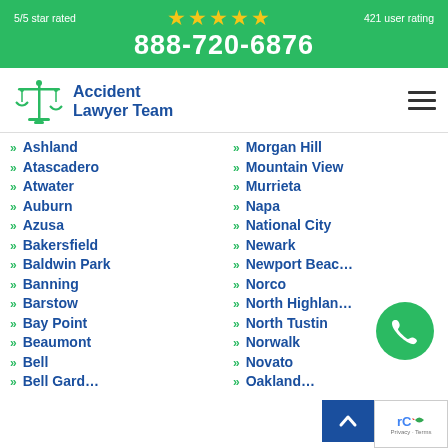5/5 star rated ★★★★★ 421 user rating
888-720-6876
[Figure (logo): Accident Lawyer Team logo with scales of justice icon in green and blue text]
Ashland
Atascadero
Atwater
Auburn
Azusa
Bakersfield
Baldwin Park
Banning
Barstow
Bay Point
Beaumont
Bell
Morgan Hill
Mountain View
Murrieta
Napa
National City
Newark
Newport Beach
Norco
North Highlands
North Tustin
Norwalk
Novato